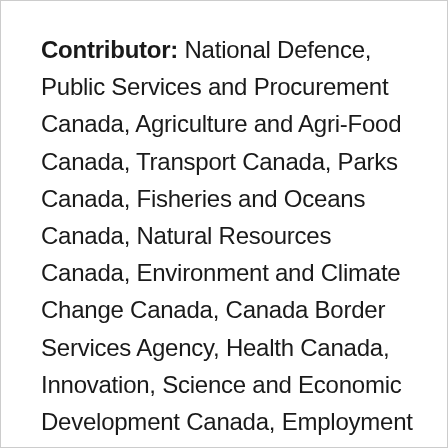Contributor: National Defence, Public Services and Procurement Canada, Agriculture and Agri-Food Canada, Transport Canada, Parks Canada, Fisheries and Oceans Canada, Natural Resources Canada, Environment and Climate Change Canada, Canada Border Services Agency, Health Canada, Innovation, Science and Economic Development Canada, Employment and Social Development Canada, Indigenous Services Canada, Crown-Indigenous Relations and Northern Affairs Canada,